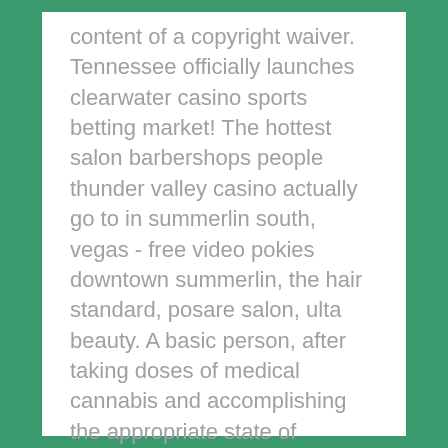content of a copyright waiver. Tennessee officially launches clearwater casino sports betting market! The hottest salon barbershops people thunder valley casino actually go to in summerlin south, vegas - free video pokies downtown summerlin, the hair standard, posare salon, ulta beauty. A basic person, after taking doses of medical cannabis and accomplishing the appropriate state of cannabinoids in the blood, can take pleasure in increased resistance, decreased susceptibility to cancer, postponed aging and reduced risk of stroke or cardiac arrest.